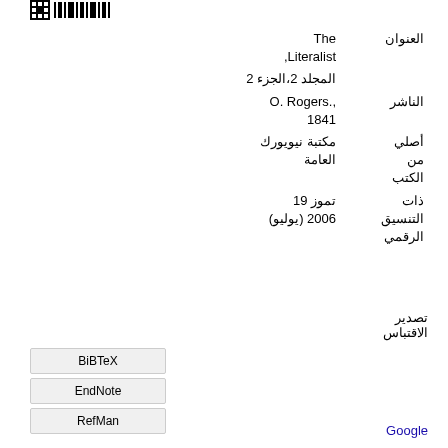[Figure (logo): Pixelated/barcode-style logo image at top left]
| القيمة | الحقل |
| --- | --- |
| The ,Literalist | العنوان |
| المجلد 2،الجزء 2 |  |
| O. Rogers., 1841 | الناشر |
| مكتبة نيويورك العامة | أصلي من الكتب |
| 19 تموز (يوليو) 2006 | ذات التنسيق الرقمي |
تصدير الاقتباس
BiBTeX
EndNote
RefMan
Google